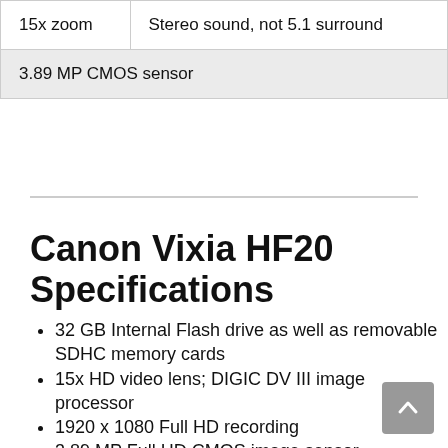| 15x zoom | Stereo sound, not 5.1 surround |
| 3.89 MP CMOS sensor |  |
Canon Vixia HF20 Specifications
32 GB Internal Flash drive as well as removable SDHC memory cards
15x HD video lens; DIGIC DV III image processor
1920 x 1080 Full HD recording
3.89 MP Full HD CMOS image sensor